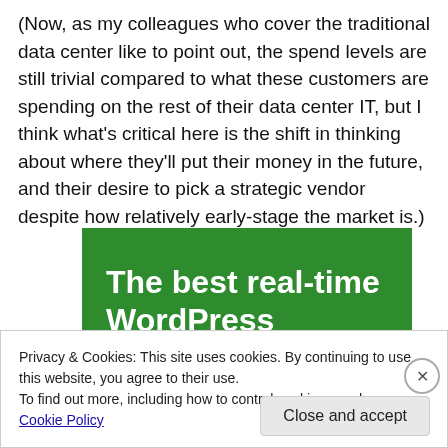(Now, as my colleagues who cover the traditional data center like to point out, the spend levels are still trivial compared to what these customers are spending on the rest of their data center IT, but I think what's critical here is the shift in thinking about where they'll put their money in the future, and their desire to pick a strategic vendor despite how relatively early-stage the market is.)
[Figure (other): Green advertisement banner with white bold text reading 'The best real-time WordPress backup plugin']
Privacy & Cookies: This site uses cookies. By continuing to use this website, you agree to their use.
To find out more, including how to control cookies, see here: Cookie Policy
Close and accept